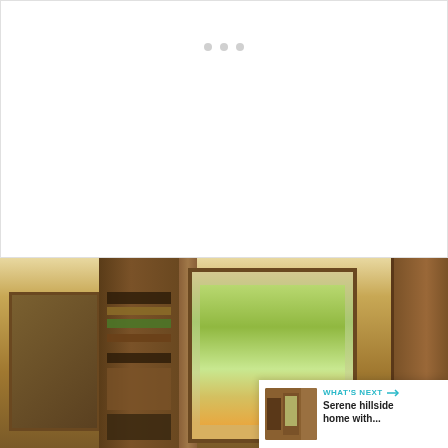[Figure (other): White content area with three small grey navigation dots at the top]
[Figure (photo): Interior photo of a craftsman-style room with warm wood paneling, built-in bookshelves with books, windows showing green foliage and autumn colors outside. Overlay UI elements: teal heart favorite button (top right), 3.5K count badge, share button, and a 'What's Next' card showing 'Serene hillside home with...' with a thumbnail.]